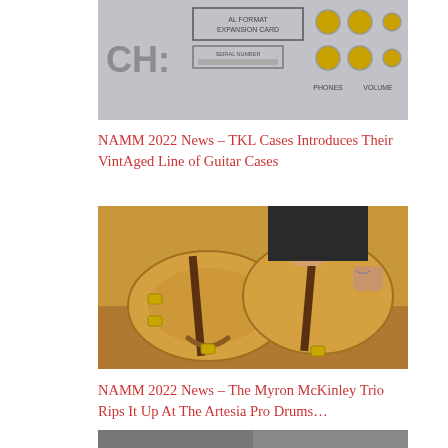[Figure (photo): Close-up photo of audio equipment back panel showing 'EXPANSION CARD', 'SERIAL NUMBER', 'PHONES', and 'VOLUME' labels with gold connectors on a light grey metal surface]
NAMM 2022 News – TKL Cases Introduces Their VintAged Line of Guitar Cases
[Figure (photo): Person holding open a vintage-style amber/tan colored guitar case showing guitar body shape, with brown trim stripe and gold/brass latches, on a wooden surface]
NAMM 2022 News – The Myron McKinley Trio Rips It Up At The Artesia Pro Drums…
[Figure (photo): Partial view of another photo at the bottom of the page]